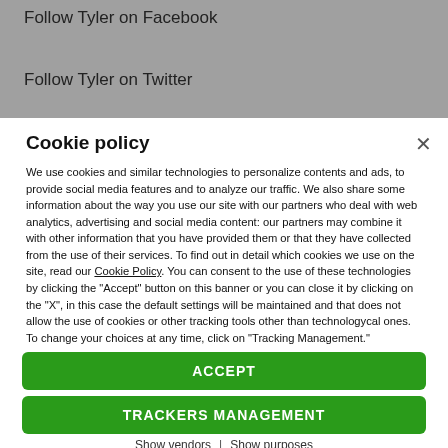Follow Tyler on Facebook
Follow Tyler on Twitter
Cookie policy
We use cookies and similar technologies to personalize contents and ads, to provide social media features and to analyze our traffic. We also share some information about the way you use our site with our partners who deal with web analytics, advertising and social media content: our partners may combine it with other information that you have provided them or that they have collected from the use of their services. To find out in detail which cookies we use on the site, read our Cookie Policy. You can consent to the use of these technologies by clicking the "Accept" button on this banner or you can close it by clicking on the "X", in this case the default settings will be maintained and that does not allow the use of cookies or other tracking tools other than technologycal ones. To change your choices at any time, click on “Tracking Management.”
ACCEPT
TRACKERS MANAGEMENT
Show vendors | Show purposes